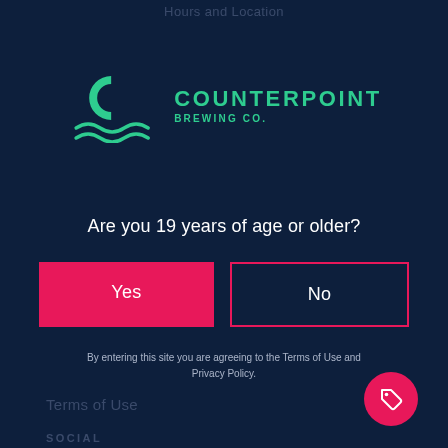Hours and Location
[Figure (logo): Counterpoint Brewing Co. logo with green stylized C and wave marks, green text]
Are you 19 years of age or older?
Yes
No
By entering this site you are agreeing to the Terms of Use and Privacy Policy.
Terms of Use
SOCIAL